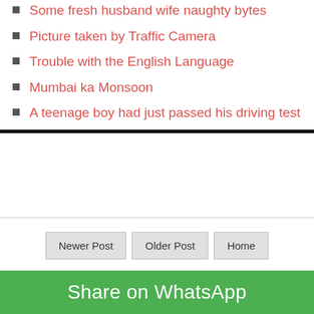Some fresh husband wife naughty bytes
Picture taken by Traffic Camera
Trouble with the English Language
Mumbai ka Monsoon
A teenage boy had just passed his driving test
Newer Post | Older Post | Home
Share on WhatsApp